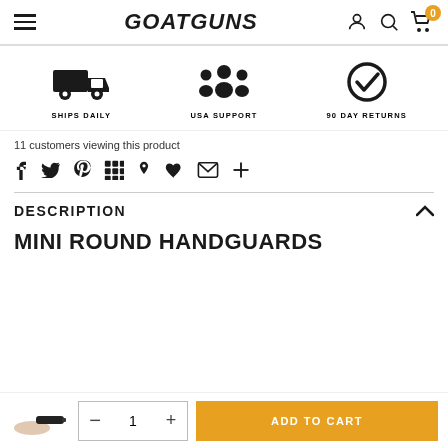GOATGUNS
[Figure (infographic): Three feature icons: delivery truck (SHIPS DAILY), group of people (USA SUPPORT), checkmark circle (90 DAY RETURNS)]
11 customers viewing this product
[Figure (infographic): Social sharing icons: Facebook, Twitter, Pinterest, grid/apps, bookmark, heart, mail, plus]
DESCRIPTION
MINI ROUND HANDGUARDS